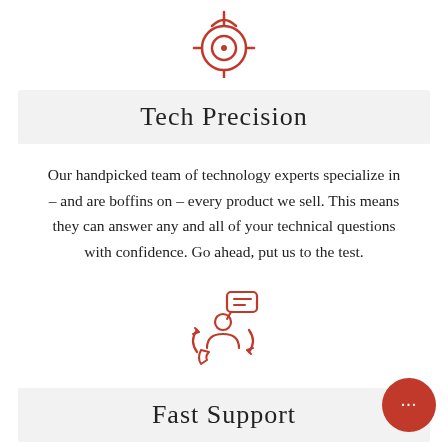[Figure (illustration): Red crosshair/target icon at the top of the page]
Tech Precision
Our handpicked team of technology experts specialize in – and are boffins on – every product we sell. This means they can answer any and all of your technical questions with confidence. Go ahead, put us to the test.
[Figure (illustration): Red customer support / headset agent icon with circular arrows and speech bubble]
Fast Support
We welcome our customers to reach out to us via e[mail], phone, or LIVE chat. Phaser FPV is the only FPV business